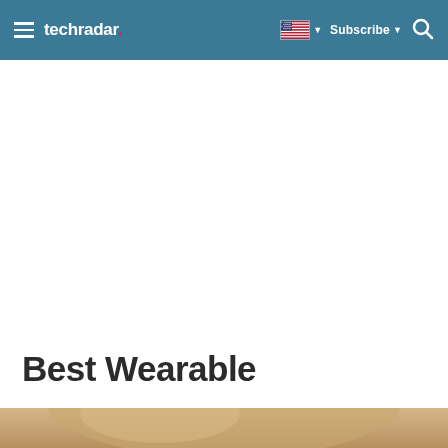techradar — navigation bar with hamburger menu, logo, US flag language selector, Subscribe button, and search icon
[Figure (other): Advertisement/blank white space area below navbar]
Best Wearable
[Figure (photo): Partial image of a wearable device (smartwatch or similar) with warm gold/tan tones, cropped at the bottom of the page]